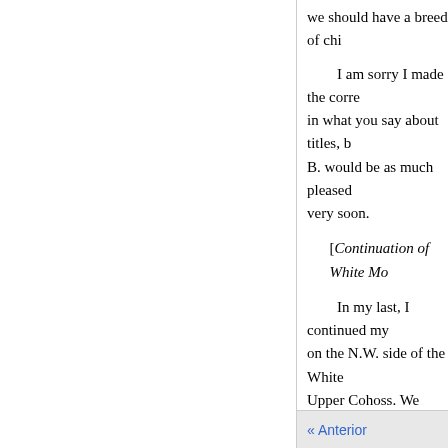we should have a breed of chi
I am sorry I made the corre in what you say about titles, b B. would be as much pleased very soon.
[Continuation of White Mo
In my last, I continued my on the N.W. side of the White Upper Cohoss. We soon foun surrounded on all sides but th were rising in innumerable co their summits, forming into d before, and thus keeping up a country need be at any loss a in abundance to the Mountain deposit it in the crevices of th called the pan, and is guided design to have made a geome but, during our whole stay he
« Anterior